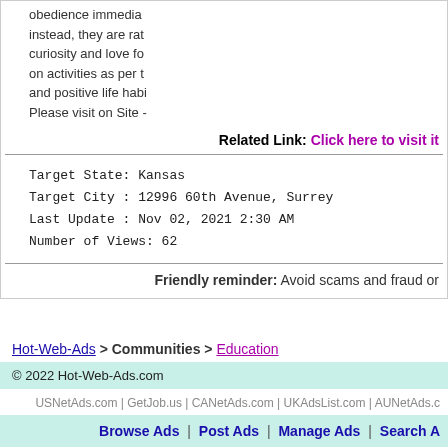obedience immediately instead, they are rather curiosity and love for on activities as per the and positive life habits. Please visit on Site -
Related Link: Click here to visit it
Target State: Kansas
Target City : 12996 60th Avenue, Surrey
Last Update : Nov 02, 2021 2:30 AM
Number of Views: 62
Friendly reminder: Avoid scams and fraud or
Hot-Web-Ads > Communities > Education
© 2022 Hot-Web-Ads.com
USNetAds.com | GetJob.us | CANetAds.com | UKAdsList.com | AUNetAds.c
Browse Ads | Post Ads | Manage Ads | Search A